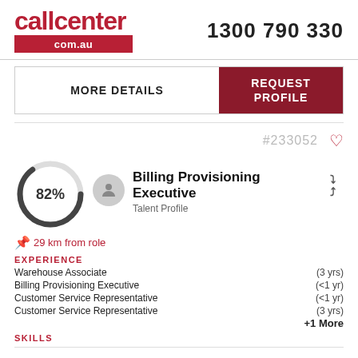[Figure (logo): callcenter.com.au logo in dark red with phone number 1300 790 330]
MORE DETAILS
REQUEST PROFILE
#233052
[Figure (infographic): Circular progress ring showing 82% match score with user avatar icon]
Billing Provisioning Executive
Talent Profile
29 km from role
EXPERIENCE
| Role | Duration |
| --- | --- |
| Warehouse Associate | (3 yrs) |
| Billing Provisioning Executive | (<1 yr) |
| Customer Service Representative | (<1 yr) |
| Customer Service Representative | (3 yrs) |
+1 More
SKILLS